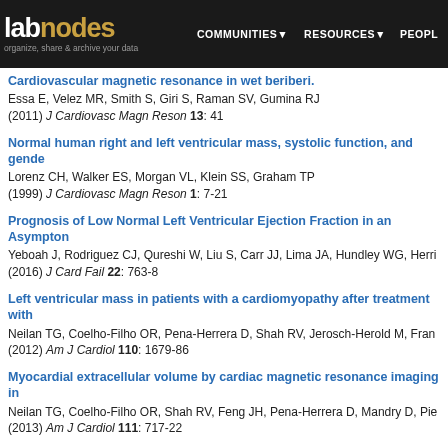labnodes | COMMUNITIES | RESOURCES | PEOPLE
Cardiovascular magnetic resonance in wet beriberi. Essa E, Velez MR, Smith S, Giri S, Raman SV, Gumina RJ (2011) J Cardiovasc Magn Reson 13: 41
Normal human right and left ventricular mass, systolic function, and gende Lorenz CH, Walker ES, Morgan VL, Klein SS, Graham TP (1999) J Cardiovasc Magn Reson 1: 7-21
Prognosis of Low Normal Left Ventricular Ejection Fraction in an Asympton Yeboah J, Rodriguez CJ, Qureshi W, Liu S, Carr JJ, Lima JA, Hundley WG, Herri (2016) J Card Fail 22: 763-8
Left ventricular mass in patients with a cardiomyopathy after treatment with Neilan TG, Coelho-Filho OR, Pena-Herrera D, Shah RV, Jerosch-Herold M, Fran (2012) Am J Cardiol 110: 1679-86
Myocardial extracellular volume by cardiac magnetic resonance imaging in Neilan TG, Coelho-Filho OR, Shah RV, Feng JH, Pena-Herrera D, Mandry D, Pie (2013) Am J Cardiol 111: 717-22
Quantitative blood flow measurements with cine phase-contrast MR imagin Pena CS, McCauley TR, Price TB, Sumpio B, Gusberg RJ, Gore JC (1996) AJR Am J Roentgenol 167: 153-7
Validation of volume flow measurements with cine phase-contrast MR imag McCauley TR, Peña CS, Holland CK, Price TB, Gore JC